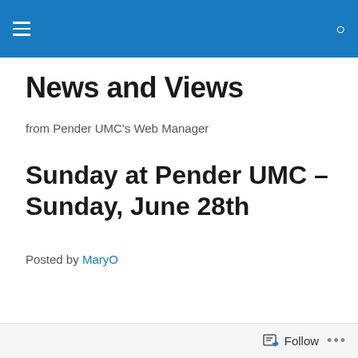News and Views
from Pender UMC's Web Manager
Sunday at Pender UMC – Sunday, June 28th
Posted by MaryO
[Figure (infographic): Word cloud with religious and community-related words including: people, story, God, share, love, world, one, tell, also, sharing, door, Christian, disciples, Paul, life, Jesus, relationship, many, words, times, convert, along, others, good, things, become, school, hearts, God's, great, grace, idea, Lord]
Follow